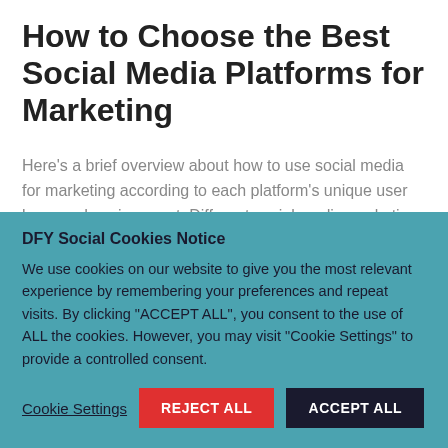How to Choose the Best Social Media Platforms for Marketing
Here's a brief overview about how to use social media for marketing according to each platform's unique user base and environment. Different social media marketing sites require different approaches, so develop a unique strategy tailored for each platform.
DFY Social Cookies Notice
We use cookies on our website to give you the most relevant experience by remembering your preferences and repeat visits. By clicking "ACCEPT ALL", you consent to the use of ALL the cookies. However, you may visit "Cookie Settings" to provide a controlled consent.
Cookie Settings | REJECT ALL | ACCEPT ALL